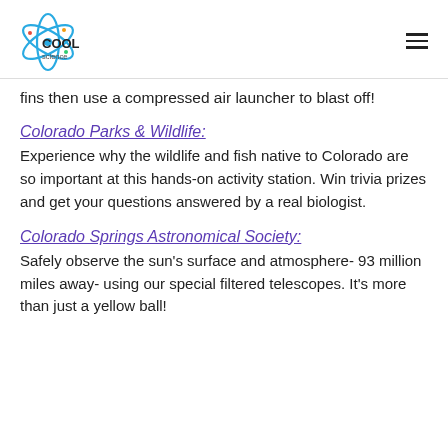Cool Science [logo]
fins then use a compressed air launcher to blast off!
Colorado Parks & Wildlife:
Experience why the wildlife and fish native to Colorado are so important at this hands-on activity station. Win trivia prizes and get your questions answered by a real biologist.
Colorado Springs Astronomical Society:
Safely observe the sun's surface and atmosphere- 93 million miles away- using our special filtered telescopes. It's more than just a yellow ball!